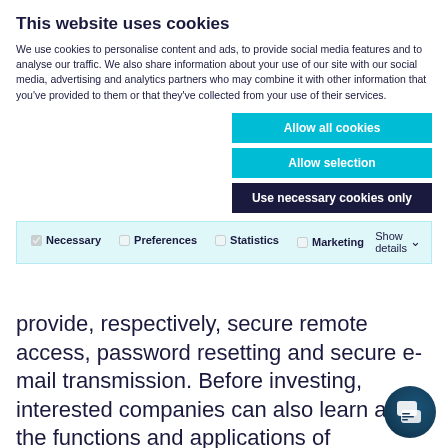This website uses cookies
We use cookies to personalise content and ads, to provide social media features and to analyse our traffic. We also share information about your use of our site with our social media, advertising and analytics partners who may combine it with other information that you've provided to them or that they've collected from your use of their services.
Allow all cookies
Allow selection
Use necessary cookies only
| ✓ Necessary | ☐ Preferences | ☐ Statistics | Show details ∨ |
| ☐ Marketing |  |  |  |
provide, respectively, secure remote access, password resetting and secure e-mail transmission. Before investing, interested companies can also learn about the functions and applications of SecurAccess in free webinars.
The licensing model for SecurAccess is